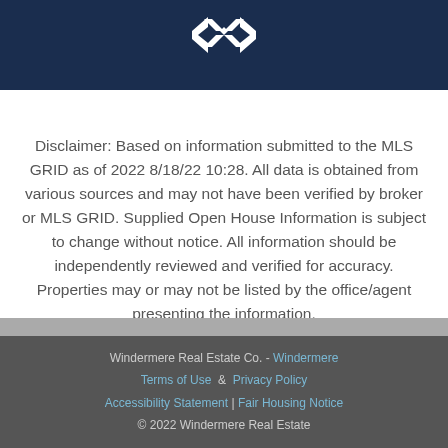[Figure (logo): Windermere diamond/chevron logo in white on dark navy background]
Disclaimer: Based on information submitted to the MLS GRID as of 2022 8/18/22 10:28. All data is obtained from various sources and may not have been verified by broker or MLS GRID. Supplied Open House Information is subject to change without notice. All information should be independently reviewed and verified for accuracy. Properties may or may not be listed by the office/agent presenting the information.
Windermere Real Estate Co. - Windermere
Terms of Use & Privacy Policy
Accessibility Statement | Fair Housing Notice
© 2022 Windermere Real Estate